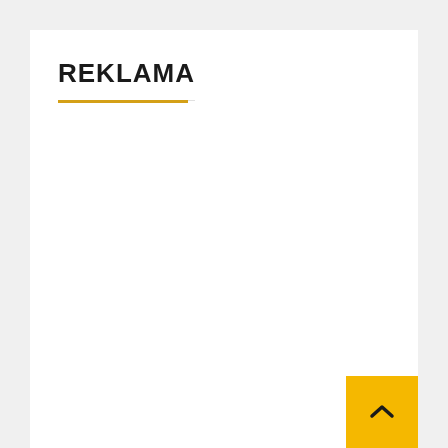REKLAMA
[Figure (other): Scroll-to-top button: yellow/gold square with upward-pointing chevron arrow in dark color, positioned at bottom-right corner of the page content area.]